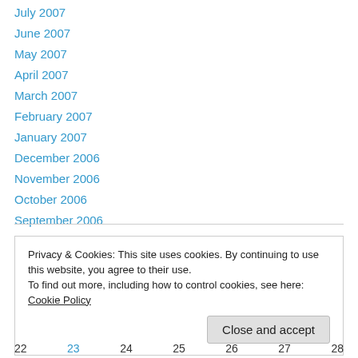July 2007
June 2007
May 2007
April 2007
March 2007
February 2007
January 2007
December 2006
November 2006
October 2006
September 2006
Privacy & Cookies: This site uses cookies. By continuing to use this website, you agree to their use.
To find out more, including how to control cookies, see here: Cookie Policy
Close and accept
22  23  24  25  26  27  28